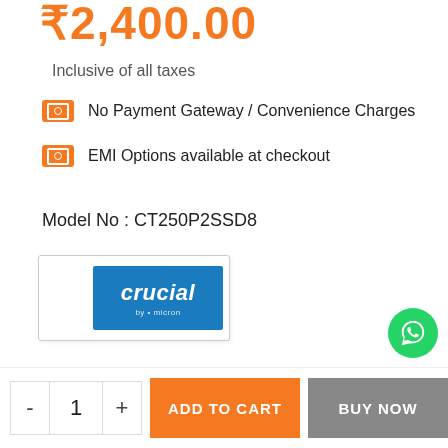₹2,400.00
Inclusive of all taxes
No Payment Gateway / Convenience Charges
EMI Options available at checkout
Model No : CT250P2SSD8
[Figure (logo): Crucial by Micron brand logo on white background with blue badge]
Usually delivered within 2-4 Business days*
- 1 +  ADD TO CART  BUY NOW